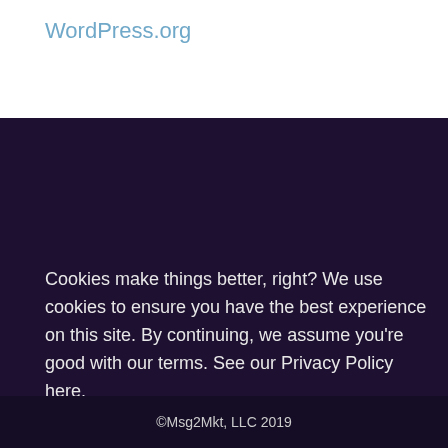WordPress.org
Cookies make things better, right? We use cookies to ensure you have the best experience on this site. By continuing, we assume you're good with our terms. See our Privacy Policy here.
©Msg2Mkt, LLC 2019